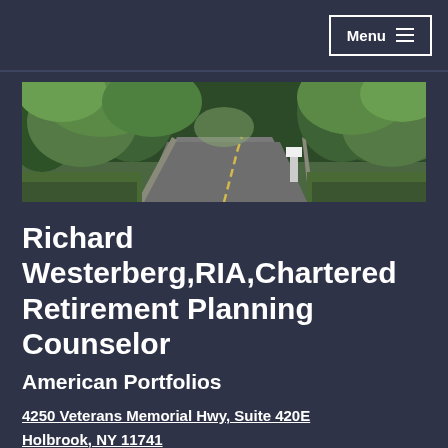Menu
[Figure (photo): Scenic winding road through a green forest with trees on both sides]
Richard Westerberg,RIA,Chartered Retirement Planning Counselor
American Portfolios
4250 Veterans Memorial Hwy, Suite 420E
Holbrook, NY 11741
Phone:
(631) 439-4600 ext. 228